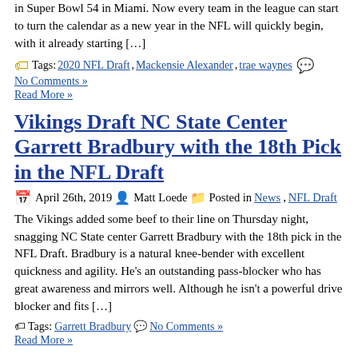in Super Bowl 54 in Miami. Now every team in the league can start to turn the calendar as a new year in the NFL will quickly begin, with it already starting […]
Tags: 2020 NFL Draft, Mackensie Alexander, trae waynes
No Comments »
Read More »
Vikings Draft NC State Center Garrett Bradbury with the 18th Pick in the NFL Draft
April 26th, 2019  Matt Loede  Posted in News, NFL Draft
The Vikings added some beef to their line on Thursday night, snagging NC State center Garrett Bradbury with the 18th pick in the NFL Draft. Bradbury is a natural knee-bender with excellent quickness and agility. He's an outstanding pass-blocker who has great awareness and mirrors well. Although he isn't a powerful drive blocker and fits […]
Tags: Garrett Bradbury  No Comments »
Read More »